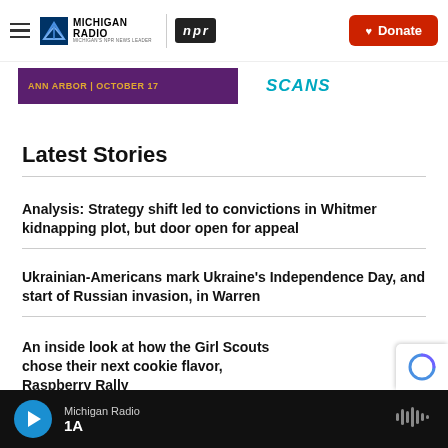Michigan Radio | NPR | Donate
[Figure (screenshot): Banner advertisement strip showing purple background with gold text 'ANN ARBOR | OCTOBER 17' and teal italic text 'SCANS' on the right]
Latest Stories
Analysis: Strategy shift led to convictions in Whitmer kidnapping plot, but door open for appeal
Ukrainian-Americans mark Ukraine's Independence Day, and start of Russian invasion, in Warren
An inside look at how the Girl Scouts chose their next cookie flavor, Raspberry Rally
Michigan Radio | 1A